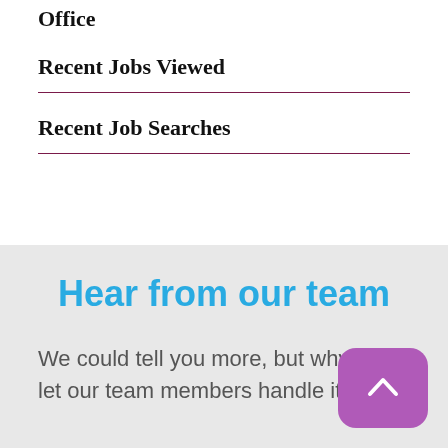Office
Recent Jobs Viewed
Recent Job Searches
Hear from our team
We could tell you more, but why not let our team members handle it? Hear